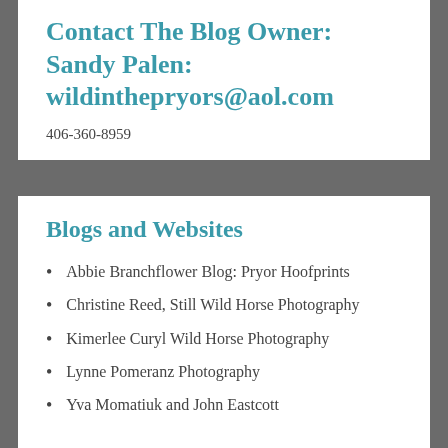Contact The Blog Owner: Sandy Palen: wildinthepryors@aol.com
406-360-8959
Blogs and Websites
Abbie Branchflower Blog: Pryor Hoofprints
Christine Reed, Still Wild Horse Photography
Kimerlee Curyl Wild Horse Photography
Lynne Pomeranz Photography
Yva Momatiuk and John Eastcott